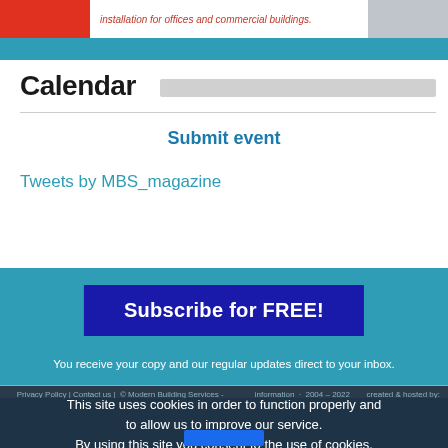[Figure (illustration): Banner with red block on left, italic red text reading 'installation for offices and commercial buildings.' and a grey image on the right]
Calendar
Submit event
Tweets by MBS_magazine
Subscribe for FREE!
You receive your copy and our regular updates direct to your inbox.
Privacy Policy | Contact us |  © Modern Building Services -    created & hosted by:   information  ·  2004 – 2022
This site uses cookies in order to function properly and to allow us to improve our service. By using this site you consent to the use of cookies.